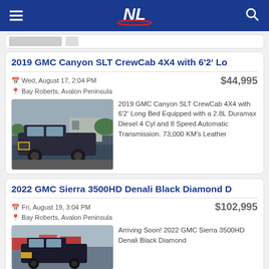NL
2019 GMC Canyon SLT CrewCab 4X4 with 6'2' Lo
Wed, August 17, 2:04 PM  $44,995
Bay Roberts, Avalon Peninsula
[Figure (photo): Dark-colored GMC Canyon pickup truck parked in a lot]
2019 GMC Canyon SLT CrewCab 4X4 with 6'2' Long Bed Equipped with a 2.8L Duramax Diesel 4 Cyl and 8 Speed Automatic Transmission. 73,000 KM's Leather
2022 GMC Sierra 3500HD Denali Black Diamond D
Fri, August 19, 3:04 PM  $102,995
Bay Roberts, Avalon Peninsula
[Figure (photo): GMC Sierra 3500HD truck partially visible]
Arriving Soon! 2022 GMC Sierra 3500HD Denali Black Diamond